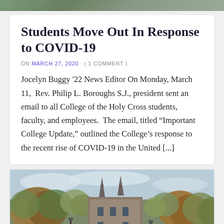[Figure (photo): Top strip of an outdoor photo, likely a campus scene]
Students Move Out In Response to COVID-19
ON MARCH 27, 2020 · ( 1 COMMENT )
Jocelyn Buggy '22 News Editor On Monday, March 11,  Rev. Philip L. Boroughs S.J., president sent an email to all College of the Holy Cross students, faculty, and employees.  The email, titled “Important College Update,” outlined the College’s response to the recent rise of COVID-19 in the United [...]
[Figure (photo): Photograph of a college campus building with gothic spires surrounded by autumn trees]